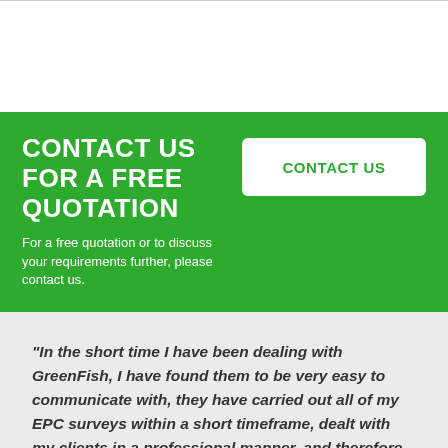CONTACT US FOR A FREE QUOTATION
For a free quotation or to discuss your requirements further, please contact us.
CONTACT US
“In the short time I have been dealing with GreenFish, I have found them to be very easy to communicate with, they have carried out all of my EPC surveys within a short timeframe, dealt with my clients in a professional manner, and therefore